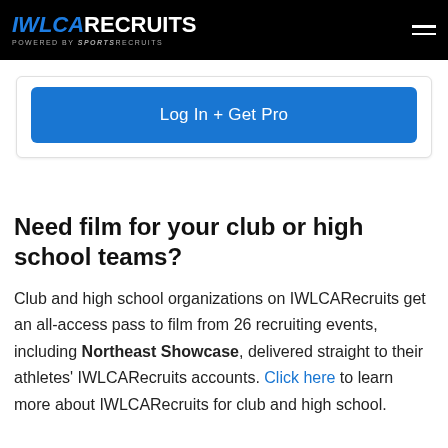IWLCA RECRUITS — Powered by SportsRecruits
[Figure (other): Log In + Get Pro button — blue rounded rectangle]
Need film for your club or high school teams?
Club and high school organizations on IWLCARecruits get an all-access pass to film from 26 recruiting events, including Northeast Showcase, delivered straight to their athletes' IWLCARecruits accounts. Click here to learn more about IWLCARecruits for club and high school.